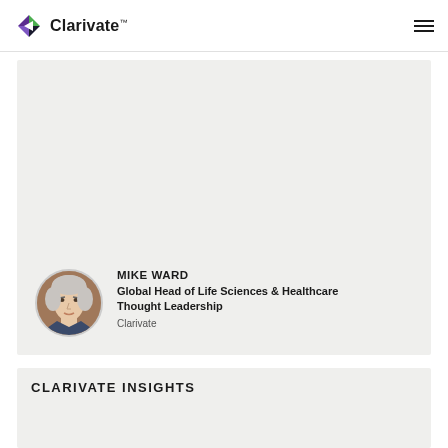[Figure (logo): Clarivate logo with diamond-shaped icon in purple and green, followed by text 'Clarivate' with trademark symbol, and hamburger menu icon on the right]
[Figure (photo): Gray background card area with a circular photo of Mike Ward (man with white/gray hair) in the bottom-left, accompanied by his name and title]
MIKE WARD
Global Head of Life Sciences & Healthcare Thought Leadership
Clarivate
CLARIVATE INSIGHTS